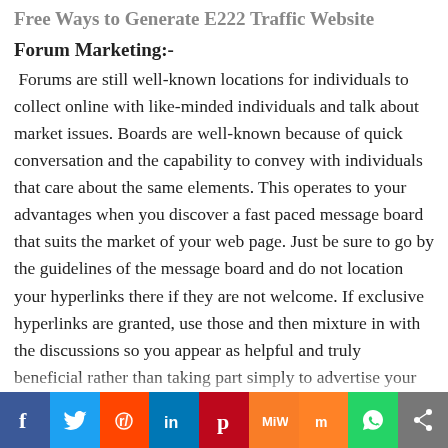Forum Marketing:-
Forums are still well-known locations for individuals to collect online with like-minded individuals and talk about market issues. Boards are well-known because of quick conversation and the capability to convey with individuals that care about the same elements. This operates to your advantages when you discover a fast paced message board that suits the market of your web page. Just be sure to go by the guidelines of the message board and do not location your hyperlinks there if they are not welcome. If exclusive hyperlinks are granted, use those and then mixture in with the discussions so you appear as helpful and truly beneficial rather than taking part simply to advertise your hyperlink.
[Figure (infographic): Social sharing bar with buttons for Facebook, Twitter, Reddit, LinkedIn, Pinterest, MixW, Mix, WhatsApp, and a share button]